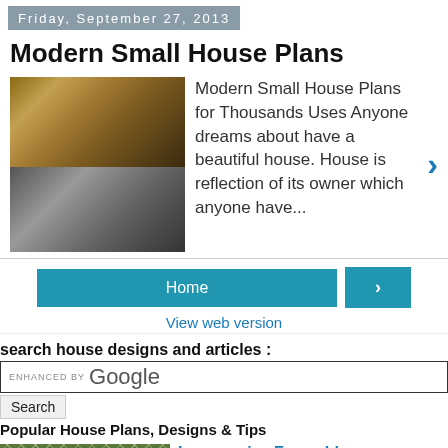Friday, September 27, 2013
Modern Small House Plans
[Figure (photo): Modern small house exterior photos]
Modern Small House Plans for Thousands Uses Anyone dreams about have a beautiful house. House is reflection of its owner which anyone have...
Home
View web version
search house designs and articles :
ENHANCED BY Google
Search
Popular House Plans, Designs & Tips
[Figure (photo): Inexpensive fence photo]
Inexpensive Fence Ideas
Inexpensive Fence Ideas become the Inexpensive Solution for the Fence but Still Beautiful Has a modern design house that could be a pride fo...
[Figure (photo): Stair stringer photo]
How to Figure Stair Stringer Length